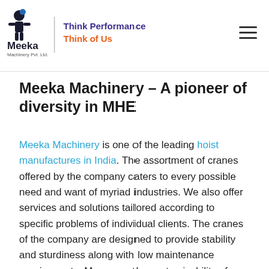Meeka Machinery Pvt. Ltd. | Think Performance Think of Us
Meeka Machinery – A pioneer of diversity in MHE
Meeka Machinery is one of the leading hoist manufactures in India. The assortment of cranes offered by the company caters to every possible need and want of myriad industries. We also offer services and solutions tailored according to specific problems of individual clients. The cranes of the company are designed to provide stability and sturdiness along with low maintenance requirements. Moreover, the customizability of each crane or hoisting equipment is maintained to a high degree, in